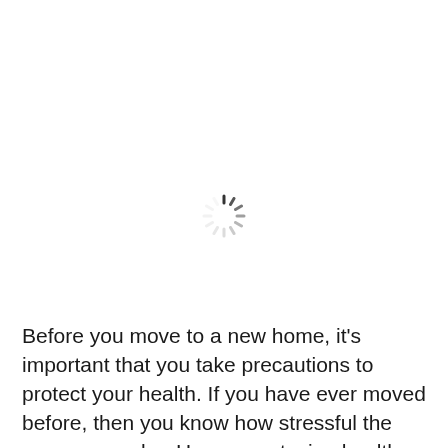[Figure (other): A loading spinner icon (circular arrangement of short radial lines in dark gray/black, indicating a loading state)]
Before you move to a new home, it's important that you take precautions to protect your health. If you have ever moved before, then you know how stressful the process can be. However, staying healthy during the process is totally up to you. Our Boston movers has put together all the most important tips for […]